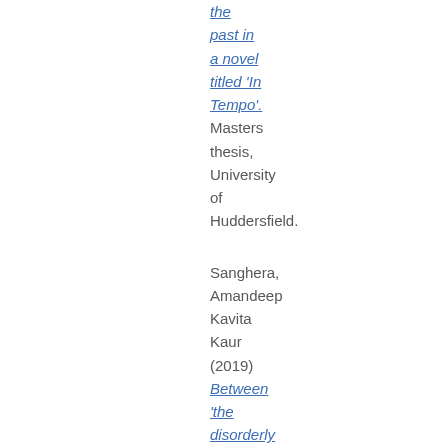the past in a novel titled 'In Tempo'. Masters thesis, University of Huddersfield.
Sanghera, Amandeep Kavita Kaur (2019) Between 'the disorderly comfortless home'